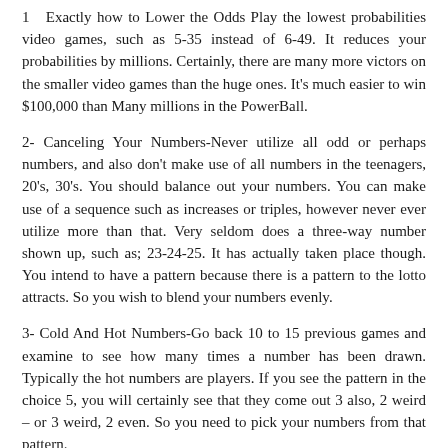1- Exactly how to Lower the Odds Play the lowest probabilities video games, such as 5-35 instead of 6-49. It reduces your probabilities by millions. Certainly, there are many more victors on the smaller video games than the huge ones. It's much easier to win $100,000 than Many millions in the PowerBall.
2- Canceling Your Numbers-Never utilize all odd or perhaps numbers, and also don't make use of all numbers in the teenagers, 20's, 30's. You should balance out your numbers. You can make use of a sequence such as increases or triples, however never ever utilize more than that. Very seldom does a three-way number shown up, such as; 23-24-25. It has actually taken place though. You intend to have a pattern because there is a pattern to the lotto attracts. So you wish to blend your numbers evenly.
3- Cold And Hot Numbers-Go back 10 to 15 previous games and examine to see how many times a number has been drawn. Typically the hot numbers are players. If you see the pattern in the choice 5, you will certainly see that they come out 3 also, 2 weird – or 3 weird, 2 even. So you need to pick your numbers from that pattern.